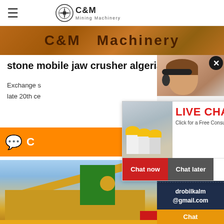C&M Mining Machinery
[Figure (photo): C&M Machinery promotional banner with brown/orange rusty texture background and bold dark brown text reading 'C&M Machinery']
stone mobile jaw crusher algeria c
Exchange s... late 20th ce...
[Figure (photo): Live Chat popup showing construction workers in yellow hard hats and a woman, with red 'LIVE CHAT' text and 'Click for a Free Consultation', Chat now and Chat later buttons]
[Figure (photo): Customer service representative woman wearing headset smiling, with close X button overlay]
ave any requests, ick here.
Quotation
Enquiry
drobilkalm@gmail.com
Chat
[Figure (photo): Yellow and green industrial mobile jaw crusher machinery against a blue sky background]